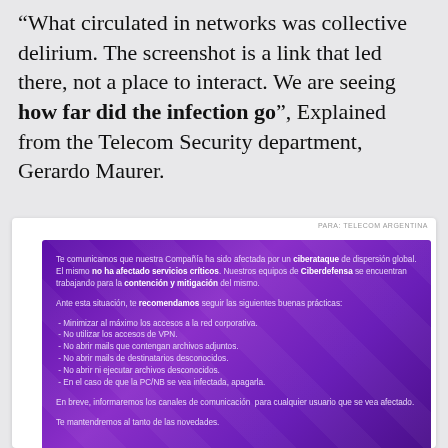“What circulated in networks was collective delirium. The screenshot is a link that led there, not a place to interact. We are seeing how far did the infection go”, Explained from the Telecom Security department, Gerardo Maurer.
[Figure (screenshot): Screenshot of a purple-background internal communication from Telecom Argentina warning employees about a cyberattack. Text in Spanish advises minimizing corporate network access, not using VPN, not opening emails with attachments or from unknown senders, not opening or executing unknown files, and shutting down infected PCs. States that communication channels will be informed shortly and that they will keep employees updated.]